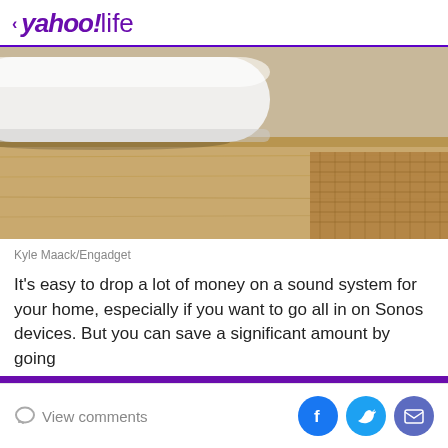< yahoo!life
[Figure (photo): Close-up photo of a white cylindrical Sonos speaker sitting on a wooden media console/cabinet with woven rattan panel detail]
Kyle Maack/Engadget
It's easy to drop a lot of money on a sound system for your home, especially if you want to go all in on Sonos devices. But you can save a significant amount by going
DEAL ALERT:
30+ best early Labour Day deals you can already shop in Canada